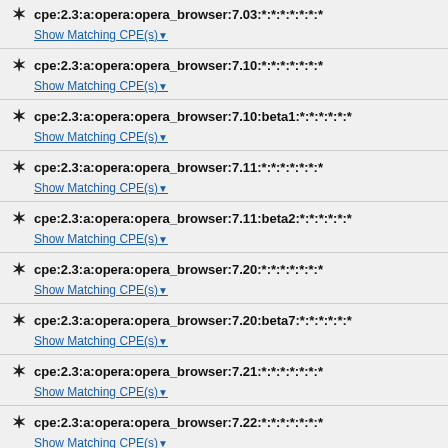cpe:2.3:a:opera:opera_browser:7.03:*:*:*:*:*:*:*
cpe:2.3:a:opera:opera_browser:7.10:*:*:*:*:*:*:*
cpe:2.3:a:opera:opera_browser:7.10:beta1:*:*:*:*:*:*
cpe:2.3:a:opera:opera_browser:7.11:*:*:*:*:*:*:*
cpe:2.3:a:opera:opera_browser:7.11:beta2:*:*:*:*:*:*
cpe:2.3:a:opera:opera_browser:7.20:*:*:*:*:*:*:*
cpe:2.3:a:opera:opera_browser:7.20:beta7:*:*:*:*:*:*
cpe:2.3:a:opera:opera_browser:7.21:*:*:*:*:*:*:*
cpe:2.3:a:opera:opera_browser:7.22:*:*:*:*:*:*:*